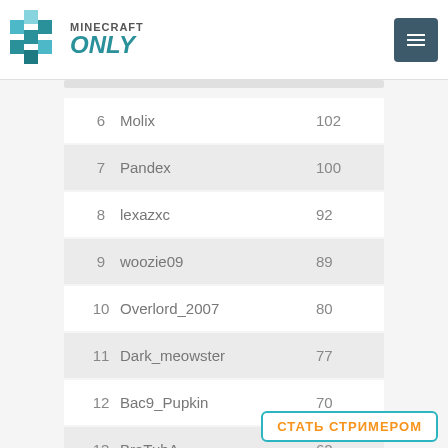MINECRAFT ONLY
| # | Name | Score |
| --- | --- | --- |
| 6 | Molix | 102 |
| 7 | Pandex | 100 |
| 8 | lexazxc | 92 |
| 9 | woozie09 | 89 |
| 10 | Overlord_2007 | 80 |
| 11 | Dark_meowster | 77 |
| 12 | Bac9_Pupkin | 70 |
| 13 | BraTuhA | 62 |
СТАТЬ СТРИМЕРОМ